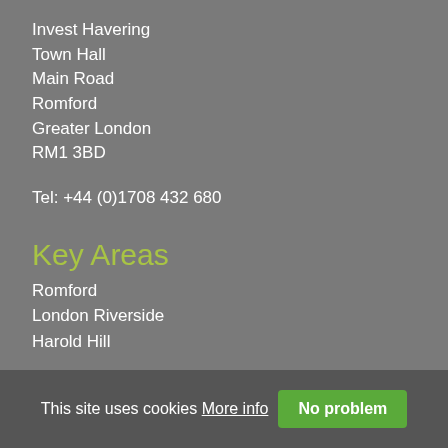Invest Havering
Town Hall
Main Road
Romford
Greater London
RM1 3BD
Tel: +44 (0)1708 432 680
Key Areas
Romford
London Riverside
Harold Hill
Sector Expertise
Construction
Manufacturing
Professional Services
This site uses cookies More info No problem